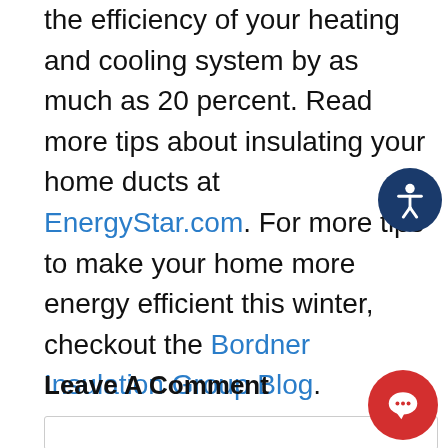the efficiency of your heating and cooling system by as much as 20 percent. Read more tips about insulating your home ducts at EnergyStar.com. For more tips to make your home more energy efficient this winter, checkout the Bordner Insulation Group Blog.
Leave A Comment